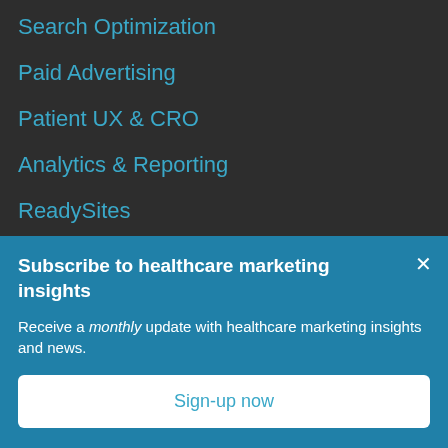Search Optimization
Paid Advertising
Patient UX & CRO
Analytics & Reporting
ReadySites
Company
Subscribe to healthcare marketing insights
Receive a monthly update with healthcare marketing insights and news.
Sign-up now